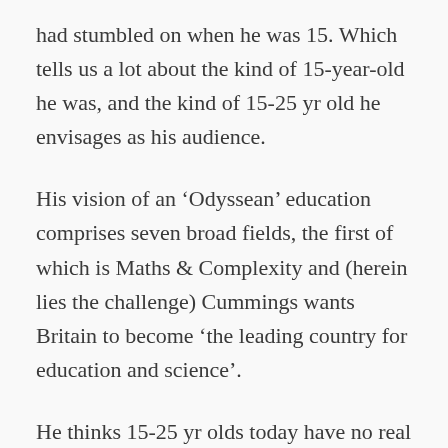had stumbled on when he was 15. Which tells us a lot about the kind of 15-year-old he was, and the kind of 15-25 yr old he envisages as his audience.
His vision of an ‘Odyssean’ education comprises seven broad fields, the first of which is Maths & Complexity and (herein lies the challenge) Cummings wants Britain to become ‘the leading country for education and science’.
He thinks 15-25 yr olds today have no real choice. They either continue their education in “dysfunctional” institutions run by “middle-aged mediocrities” or